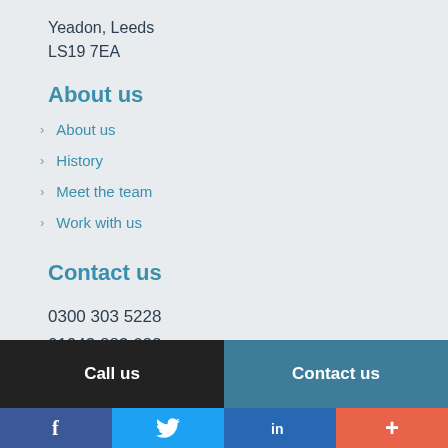Yeadon, Leeds
LS19 7EA
About us
About us
History
Meet the team
Work with us
Contact us
0300 303 5228
01943 883 622
info@lighthouseservices.co.uk
Call us
Contact us
[Figure (other): Social media icons bar: Facebook (blue), Twitter (light blue), LinkedIn (dark blue), plus button (orange-red)]